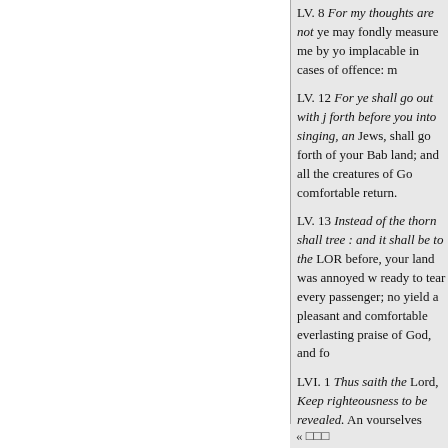LV. 8 For my thoughts are not ye may fondly measure me by yo implacable in cases of offence: m
LV. 12 For ye shall go out with j forth before you into singing, an Jews, shall go forth of your Bab land; and all the creatures of Go comfortable return.
LV. 13 Instead of the thorn shall tree : and it shall be to the LOR before, your land was annoyed w ready to tear every passenger; no yield a pleasant and comfortable everlasting praise of God, and fo
LVI. 1 Thus saith the Lord, Keep righteousness to be revealed. An yourselves careful to perform all deliverance and salvation, which
LVI. 3 Neither let the eunuch say defects and un
« □□□